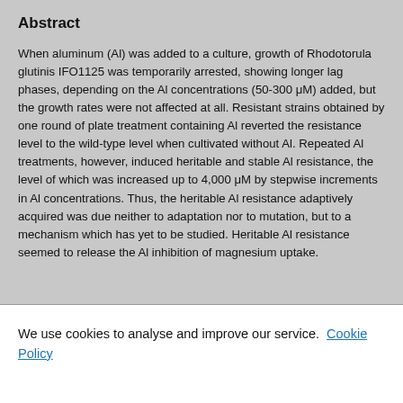Abstract
When aluminum (Al) was added to a culture, growth of Rhodotorula glutinis IFO1125 was temporarily arrested, showing longer lag phases, depending on the Al concentrations (50-300 μM) added, but the growth rates were not affected at all. Resistant strains obtained by one round of plate treatment containing Al reverted the resistance level to the wild-type level when cultivated without Al. Repeated Al treatments, however, induced heritable and stable Al resistance, the level of which was increased up to 4,000 μM by stepwise increments in Al concentrations. Thus, the heritable Al resistance adaptively acquired was due neither to adaptation nor to mutation, but to a mechanism which has yet to be studied. Heritable Al resistance seemed to release the Al inhibition of magnesium uptake.
We use cookies to analyse and improve our service. Cookie Policy